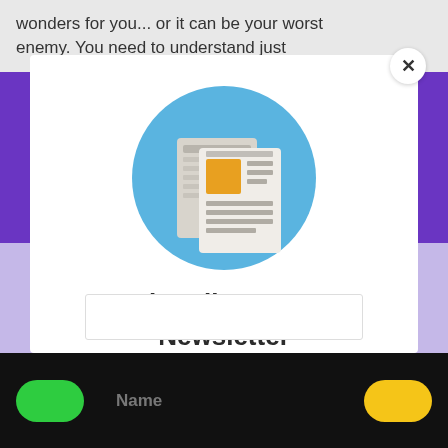wonders for you... or it can be your worst enemy. You need to understand just
[Figure (illustration): Newsletter icon: blue circle with newspaper/document illustration showing an orange rectangle and gray text lines]
Subscribe To Our Newsletter
Join our mailing list to receive the latest news and updates from Mel.
Name